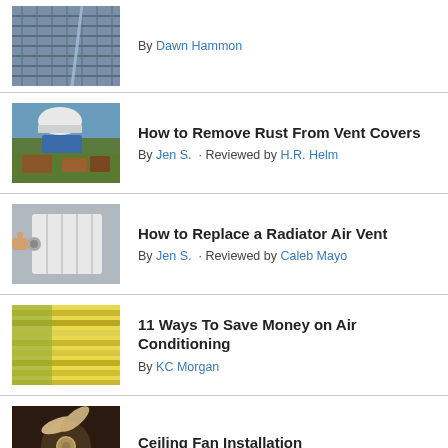[Figure (photo): Photo of what appears to be solar panels or metal grating being cleaned with water]
By Dawn Hammon
[Figure (photo): Photo of a worker removing or handling rusty metal vent covers outdoors]
How to Remove Rust From Vent Covers
By Jen S.  · Reviewed by H.R. Helm
[Figure (photo): Photo of a hand adjusting a radiator air vent on a white radiator]
How to Replace a Radiator Air Vent
By Jen S.  · Reviewed by Caleb Mayo
[Figure (photo): Photo of window blinds with sunlight shining through, yellow-green tones]
11 Ways To Save Money on Air Conditioning
By KC Morgan
[Figure (photo): Photo of a ceiling fan, dark background, warm lighting]
Ceiling Fan Installation